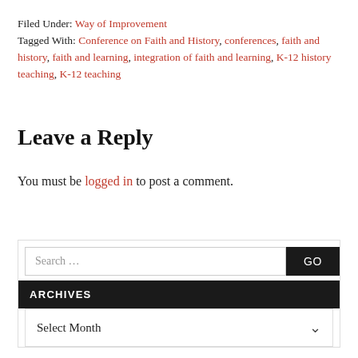Filed Under: Way of Improvement
Tagged With: Conference on Faith and History, conferences, faith and history, faith and learning, integration of faith and learning, K-12 history teaching, K-12 teaching
Leave a Reply
You must be logged in to post a comment.
Search ...
GO
ARCHIVES
Select Month